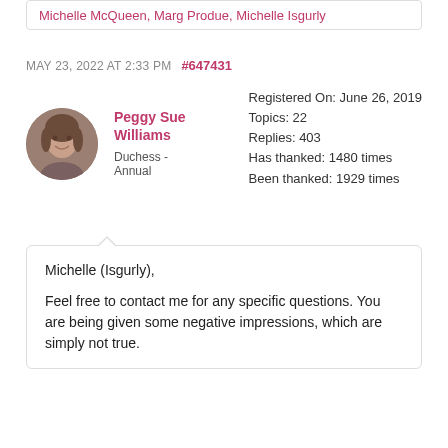Michelle McQueen, Marg Produe, Michelle Isgurly
MAY 23, 2022 AT 2:33 PM #647431
[Figure (photo): Circular avatar photo of Peggy Sue Williams, a woman with brown hair smiling]
Peggy Sue Williams
Duchess - Annual
Registered On: June 26, 2019
Topics: 22
Replies: 403
Has thanked: 1480 times
Been thanked: 1929 times
Michelle (Isgurly),

Feel free to contact me for any specific questions.  You are being given some negative impressions, which are simply not true.